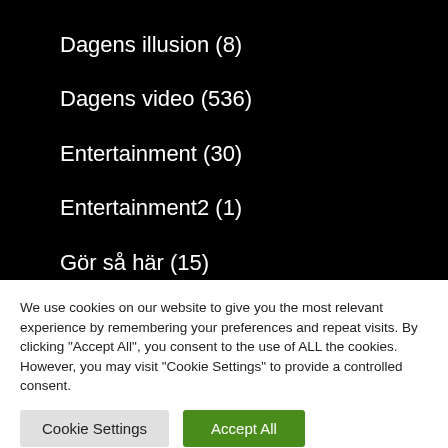Dagens illusion (8)
Dagens video (536)
Entertainment (30)
Entertainment2 (1)
Gör så här (15)
We use cookies on our website to give you the most relevant experience by remembering your preferences and repeat visits. By clicking "Accept All", you consent to the use of ALL the cookies. However, you may visit "Cookie Settings" to provide a controlled consent.
Cookie Settings
Accept All